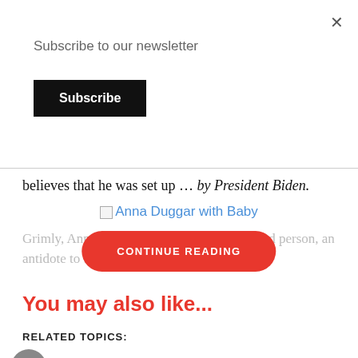Subscribe to our newsletter
Subscribe
believes that he was set up … by President Biden.
[Figure (illustration): Broken image placeholder link labeled 'Anna Duggar with Baby']
CONTINUE READING
Grimly, Anna ... husband is a good person, an antidote to the community
You may also like...
RELATED TOPICS:
truthmag100